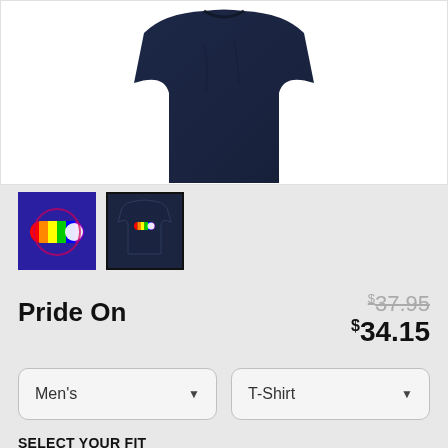[Figure (photo): Dark navy t-shirt product photo showing the top/chest portion of the shirt against a white background]
[Figure (photo): Thumbnail 1: Rainbow toggle switch graphic on dark purple/blue background]
[Figure (photo): Thumbnail 2: Dark navy t-shirt with rainbow toggle graphic, with black border indicating selected state]
Pride On
$37.95 (strikethrough original price) $34.15 (sale price)
Men's (dropdown)
T-Shirt (dropdown)
SELECT YOUR FIT